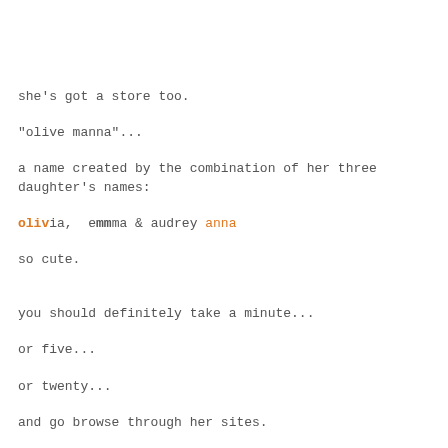she's got a store too.
"olive manna"...
a name created by the combination of her three daughter's names:
olivia, emma & audrey anna
so cute.
you should definitely take a minute...
or five...
or twenty...
and go browse through her sites.
LOVE.